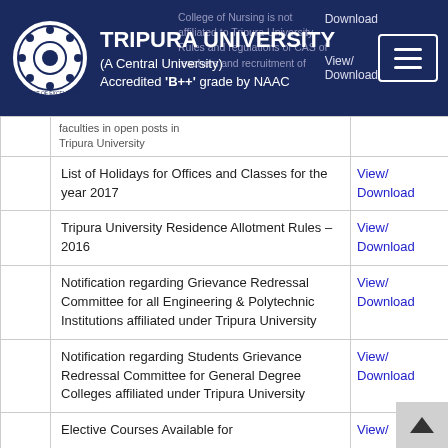TRIPURA UNIVERSITY (A Central University) Accredited 'B++' grade by NAAC
|  | Description | Link |
| --- | --- | --- |
|  | College of Nursing is not affiliated to Tripura University Rules and regulations of CAS of teachers and recruitment of faculties in open posts in Tripura University | View/
Download |
|  | List of Holidays for Offices and Classes for the year 2017 | View/
Download |
|  | Tripura University Residence Allotment Rules -2016 | View/
Download |
|  | Notification regarding Grievance Redressal Committee for all Engineering & Polytechnic Institutions affiliated under Tripura University | View/
Download |
|  | Notification regarding Students Grievance Redressal Committee for General Degree Colleges affiliated under Tripura University | View/
Download |
|  | Elective Courses Available for... | View/ |